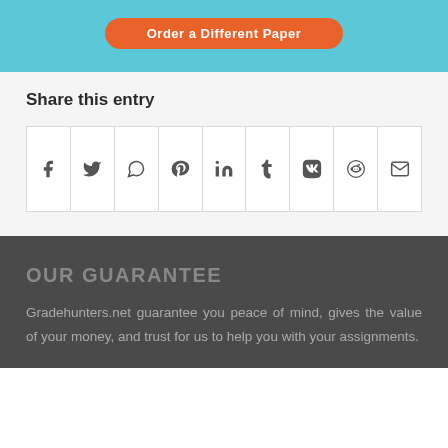[Figure (other): Orange 'Order a Different Paper' button on light blue background]
Share this entry
[Figure (other): Social sharing icon grid with Facebook, Twitter, WhatsApp, Pinterest, LinkedIn, Tumblr, VK, Reddit, and Email icons]
OUR GUARANTEE
Gradehunters.net guarantee you peace of mind, gives the value of your money, and trust for us to help you with your assignments.